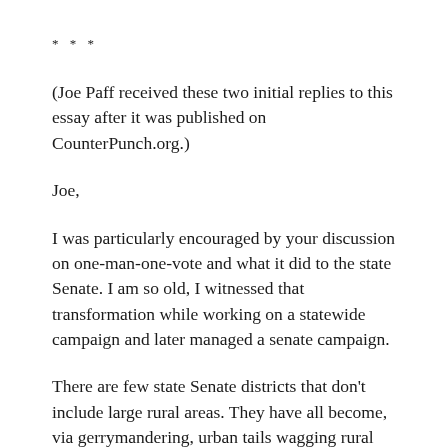* * *
(Joe Paff received these two initial replies to this essay after it was published on CounterPunch.org.)
Joe,
I was particularly encouraged by your discussion on one-man-one-vote and what it did to the state Senate. I am so old, I witnessed that transformation while working on a statewide campaign and later managed a senate campaign.
There are few state Senate districts that don't include large rural areas. They have all become, via gerrymandering, urban tails wagging rural